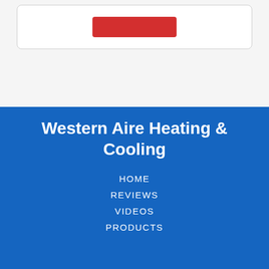[Figure (other): White card with a red button element at the top of the page]
Western Aire Heating & Cooling
HOME
REVIEWS
VIDEOS
PRODUCTS